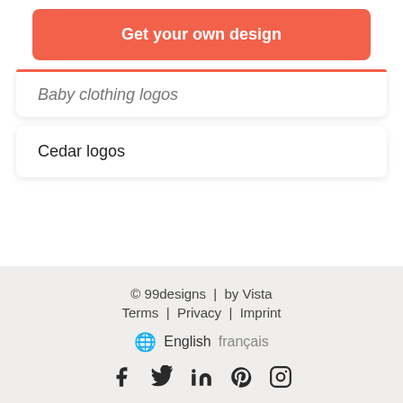[Figure (other): Red rounded button with white bold text 'Get your own design']
Baby clothing logos
Cedar logos
© 99designs  |  by Vista
Terms  |  Privacy  |  Imprint
English  français
Social icons: Facebook, Twitter, LinkedIn, Pinterest, Instagram